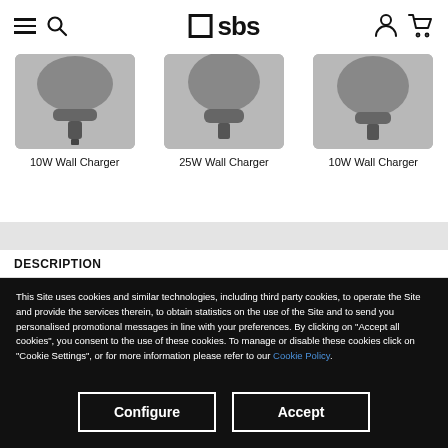SBS website header with hamburger menu, search icon, SBS logo, user icon, and cart icon
[Figure (photo): Three wall charger product images shown partially cropped at top: 10W Wall Charger (left), 25W Wall Charger (center), 10W Wall Charger (right), all in dark grey color]
10W Wall Charger   25W Wall Charger   10W Wall Charger
DESCRIPTION
This Site uses cookies and similar technologies, including third party cookies, to operate the Site and provide the services therein, to obtain statistics on the use of the Site and to send you personalised promotional messages in line with your preferences. By clicking on "Accept all cookies", you consent to the use of these cookies. To manage or disable these cookies click on "Cookie Settings", or for more information please refer to our Cookie Policy.
Configure | Accept